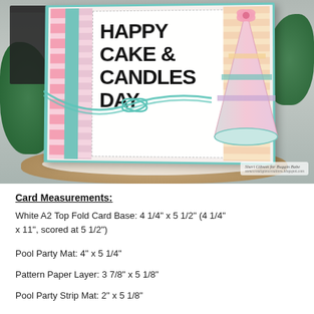[Figure (photo): Handmade birthday card with 'Happy Cake & Candles Day' text and a glittery party hat embellishment, decorated with patterned paper strips and teal twine bow, displayed on a wooden slice with greenery and a lantern in background.]
Card Measurements:
White A2 Top Fold Card Base: 4 1/4" x 5 1/2" (4 1/4" x 11", scored at 5 1/2")
Pool Party Mat: 4" x 5 1/4"
Pattern Paper Layer: 3 7/8" x 5 1/8"
Pool Party Strip Mat: 2" x 5 1/8"